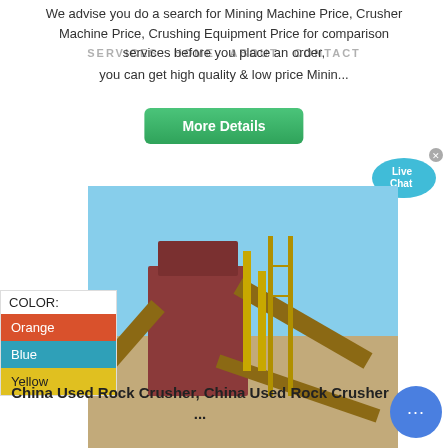We advise you do a search for Mining Machine Price, Crusher Machine Price, Crushing Equipment Price for comparison services before you place an order, you can get high quality & low price Minin...
SERVICES  HOME  ABOUT  CONTACT
More Details
[Figure (infographic): Live Chat speech bubble icon in cyan/teal color with an X close button]
| COLOR: |
| --- |
| Orange |
| Blue |
| Yellow |
[Figure (photo): Photo of a China used rock crusher industrial machinery at a mining site under blue sky]
China Used Rock Crusher, China Used Rock Crusher ...